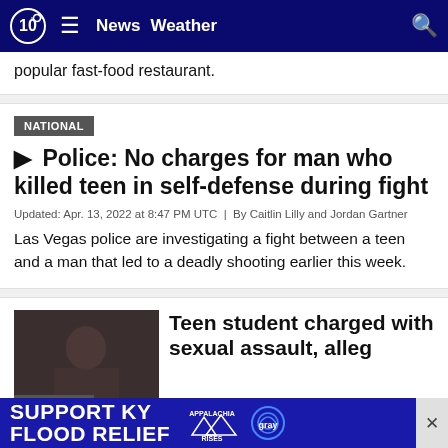10 News | News  Weather
popular fast-food restaurant.
Police: No charges for man who killed teen in self-defense during fight
Updated: Apr. 13, 2022 at 8:47 PM UTC  |  By Caitlin Lilly and Jordan Gartner
Las Vegas police are investigating a fight between a teen and a man that led to a deadly shooting earlier this week.
Teen student charged with sexual assault, alleg…
SUPPORT KY FLOOD RELIEF  APPALACHIA RISES  gray